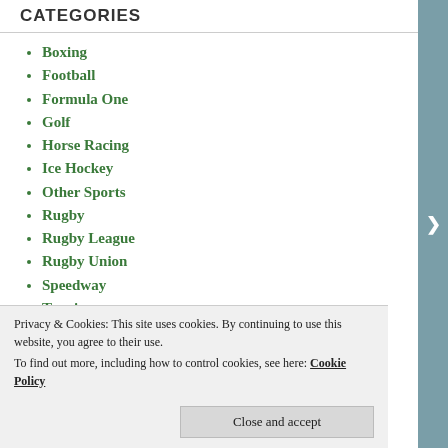CATEGORIES
Boxing
Football
Formula One
Golf
Horse Racing
Ice Hockey
Other Sports
Rugby
Rugby League
Rugby Union
Speedway
Tennis
Uncategorized
Privacy & Cookies: This site uses cookies. By continuing to use this website, you agree to their use. To find out more, including how to control cookies, see here: Cookie Policy
Close and accept